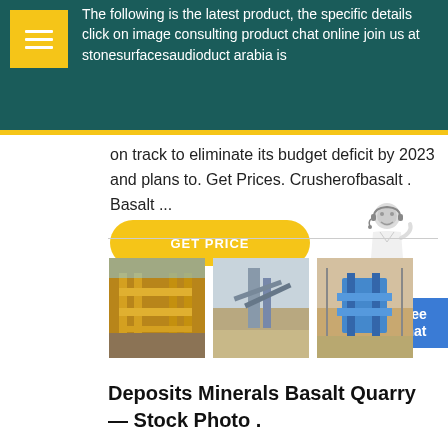The following is the latest product, the specific details click on image consulting product chat online join us at stonesurfacesaudioduct arabia is on track to eliminate its budget deficit by 2023 and plans to. Get Prices. Crusherofbasalt . Basalt ...
on track to eliminate its budget deficit by 2023 and plans to. Get Prices. Crusherofbasalt . Basalt ...
GET PRICE
[Figure (photo): Three photos of industrial quarry/mining/crushing equipment installations]
Deposits Minerals Basalt Quarry — Stock Photo .